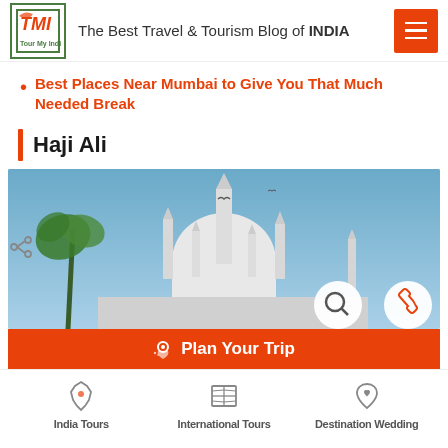The Best Travel & Tourism Blog of INDIA
Best Places Near Mumbai to Give You That Much Needed Break
Haji Ali
[Figure (photo): Photo of Haji Ali Dargah mosque with white domes and minarets against a blue sky, palm trees visible on the left side]
Plan Your Trip
India Tours  International Tours  Destination Wedding